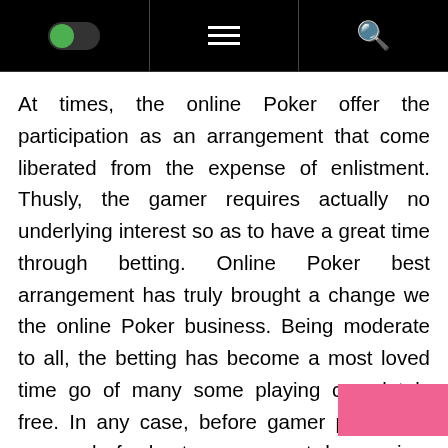[Figure (screenshot): Mobile navigation bar with toggle switch (green), hamburger menu, and search icon on black background]
At times, the online Poker offer the participation as an arrangement that come liberated from the expense of enlistment. Thusly, the gamer requires actually no underlying interest so as to have a great time through betting. Online Poker best arrangement has truly brought a change we the online Poker business. Being moderate to all, the betting has become a most loved time go of many some playing completely free. In any case, before gamer profits the proposal of a best arrangement, he requires to think about the unwavering quality of the offer. So as to remove from best out of the arrangement, the gamer may likewise check the product utilized in the specific online Poker.